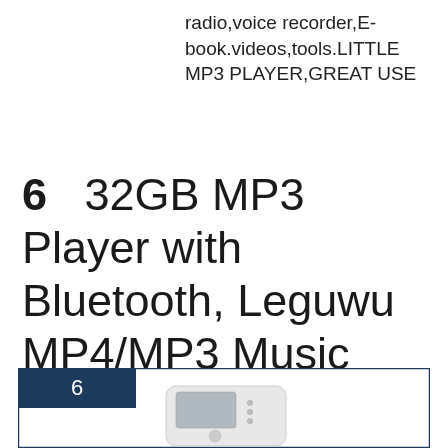radio,voice recorder,E-book.videos,tools.LITTLE MP3 PLAYER,GREAT USE
6   32GB MP3 Player with Bluetooth, Leguwu MP4/MP3 Music Players with Speaker, Multi-Functional Media Player for Kids, Earphones Included
[Figure (other): Card box with badge number 6 in dark navy background, and partial product image of an MP3 player at the bottom]